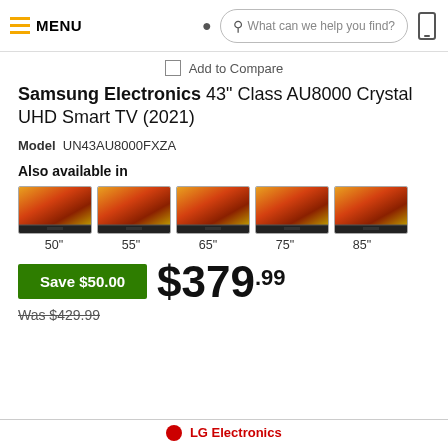MENU | What can we help you find?
Add to Compare
Samsung Electronics 43" Class AU8000 Crystal UHD Smart TV (2021)
Model UN43AU8000FXZA
Also available in
[Figure (photo): Five TV thumbnail images showing available size variants]
50"  55"  65"  75"  85"
Save $50.00  $379.99
Was $429.99
LG Electronics